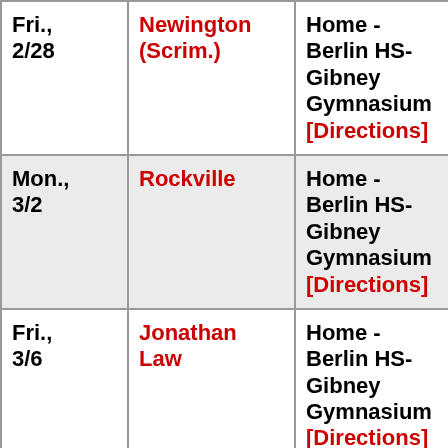| Date | Opponent | Location | Time |
| --- | --- | --- | --- |
| Fri., 2/28 | Newington (Scrim.) | Home - Berlin HS-Gibney Gymnasium [Directions] | 5:00 p.m. |
| Mon., 3/2 | Rockville | Home - Berlin HS-Gibney Gymnasium [Directions] | 6:30 p.m. |
| Fri., 3/6 | Jonathan Law | Home - Berlin HS-Gibney Gymnasium [Directions] | 6:30 p.m. |